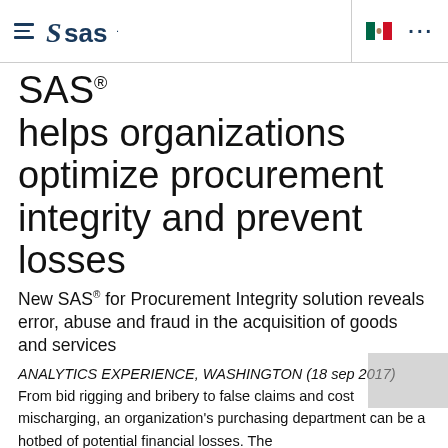SAS logo and navigation header with hamburger menu, SAS logo, Mexico flag, and dots menu
SAS® helps organizations optimize procurement integrity and prevent losses
New SAS® for Procurement Integrity solution reveals error, abuse and fraud in the acquisition of goods and services
ANALYTICS EXPERIENCE, WASHINGTON (18 sep 2017) From bid rigging and bribery to false claims and cost mischarging, an organization's purchasing department can be a hotbed of potential financial losses. The